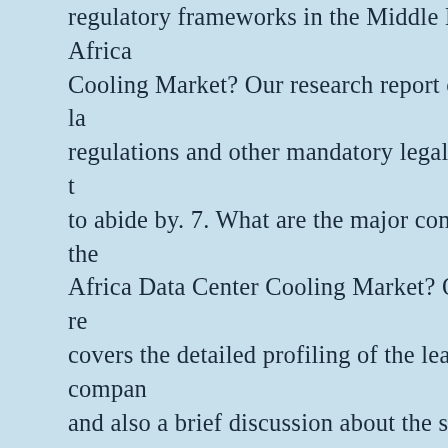regulatory frameworks in the Middle East & Africa Cooling Market? Our research report covers, the la regulations and other mandatory legal procedures t to abide by. 7. What are the major companies in the Africa Data Center Cooling Market? Our market re covers the detailed profiling of the leading compan and also a brief discussion about the smaller emerg excellent Asia-Pacific Data Center Cooling Market best market research offerings and the required crit whether it is about looking for new product trends o analysis of an existing or emerging market. With th companies can sharpen their competitive edge agai market report has expert insights on global industri company profiles, and market trends. Countries cov UAE • Saudi Arabia • South Africa Table of Conter Europe Data Center Cooling Market Report: Table of Contents 1. Executive Summary 2. Report Meth Structure 3.1. Market Considerate 3.2. Market Defi /Demographic Snapshot 5. Global Data Center Coo Outlook 5.1. Market Size by Value 5.2. Market Sha